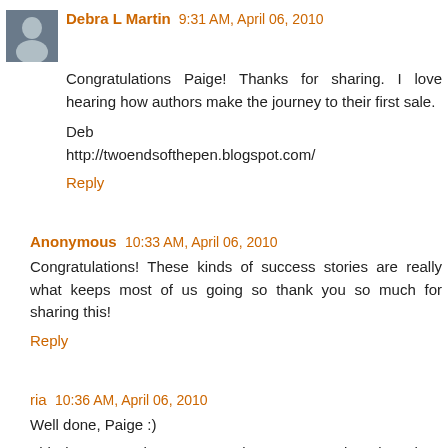Debra L Martin  9:31 AM, April 06, 2010
Congratulations Paige! Thanks for sharing. I love hearing how authors make the journey to their first sale.
Deb
http://twoendsofthepen.blogspot.com/
Reply
Anonymous  10:33 AM, April 06, 2010
Congratulations! These kinds of success stories are really what keeps most of us going so thank you so much for sharing this!
Reply
ria  10:36 AM, April 06, 2010
Well done, Paige :)
This is great to hear. You read so many stories about how authors behave about published first time...